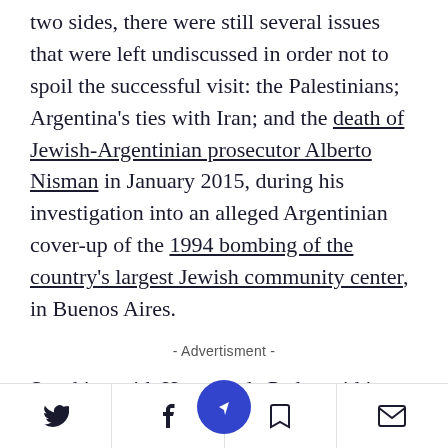two sides, there were still several issues that were left undiscussed in order not to spoil the successful visit: the Palestinians; Argentina's ties with Iran; and the death of Jewish-Argentinian prosecutor Alberto Nisman in January 2015, during his investigation into an alleged Argentinian cover-up of the 1994 bombing of the country's largest Jewish community center, in Buenos Aires.
- Advertisment -
Speaking with Haaretz, de Pedro said it was time to move on: "I...